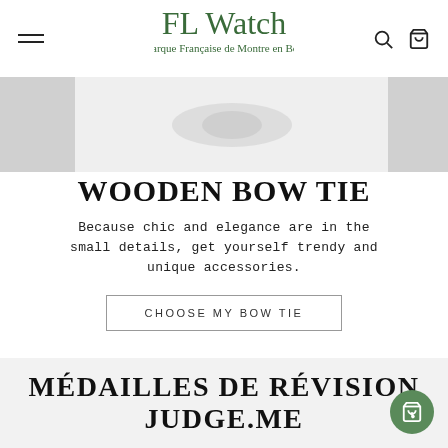[Figure (logo): FL Watch logo in green script with tagline 'Marque Française de Montre en Bois']
[Figure (photo): Hero image strip showing a wooden bow tie product, partially cropped]
WOODEN BOW TIE
Because chic and elegance are in the small details, get yourself trendy and unique accessories.
CHOOSE MY BOW TIE
MÉDAILLES DE RÉVISION JUDGE.ME